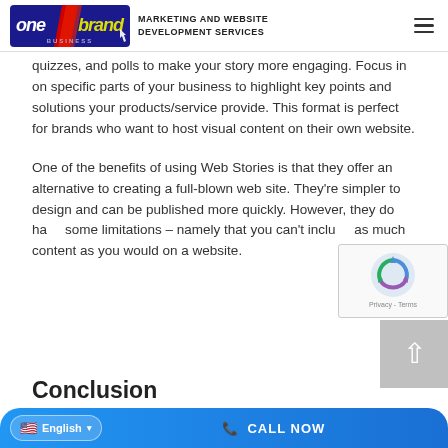OneBrand Business — MARKETING AND WEBSITE DEVELOPMENT SERVICES
quizzes, and polls to make your story more engaging. Focus in on specific parts of your business to highlight key points and solutions your products/service provide. This format is perfect for brands who want to host visual content on their own website.
One of the benefits of using Web Stories is that they offer an alternative to creating a full-blown web site. They're simpler to design and can be published more quickly. However, they do have some limitations – namely that you can't include as much content as you would on a website.
Conclusion